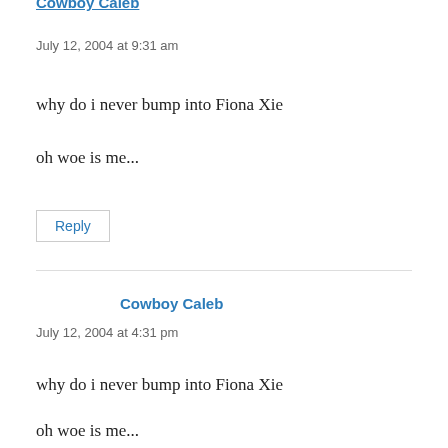Cowboy Caleb (partial, top)
July 12, 2004 at 9:31 am
why do i never bump into Fiona Xie
oh woe is me...
Reply
Cowboy Caleb
July 12, 2004 at 4:31 pm
why do i never bump into Fiona Xie
oh woe is me...